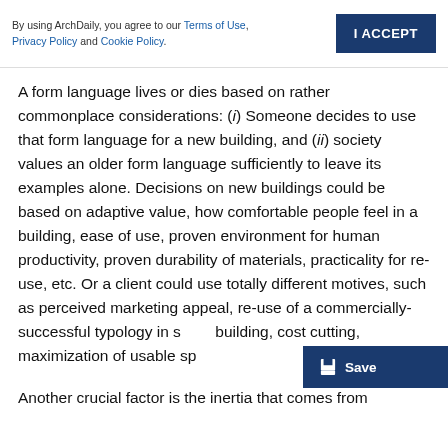By using ArchDaily, you agree to our Terms of Use, Privacy Policy and Cookie Policy. | I ACCEPT
A form language lives or dies based on rather commonplace considerations: (i) Someone decides to use that form language for a new building, and (ii) society values an older form language sufficiently to leave its examples alone. Decisions on new buildings could be based on adaptive value, how comfortable people feel in a building, ease of use, proven environment for human productivity, proven durability of materials, practicality for re-use, etc. Or a client could use totally different motives, such as perceived marketing appeal, re-use of a commercially-successful typology in s... building, cost cutting, maximization of usable sp...
Another crucial factor is the inertia that comes from